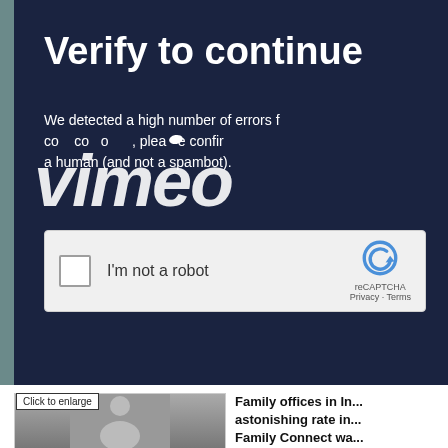Verify to continue
We detected a high number of errors from your connection. To help confirm you are a human (and not a spambot).
[Figure (screenshot): reCAPTCHA widget with checkbox labeled I'm not a robot, with reCAPTCHA logo, Privacy and Terms links]
[Figure (logo): Vimeo logo watermark overlaid on the dark navy background]
[Figure (photo): Thumbnail photo of a person with Click to enlarge label]
Family offices in In... astonishing rate in... Family Connect wa...